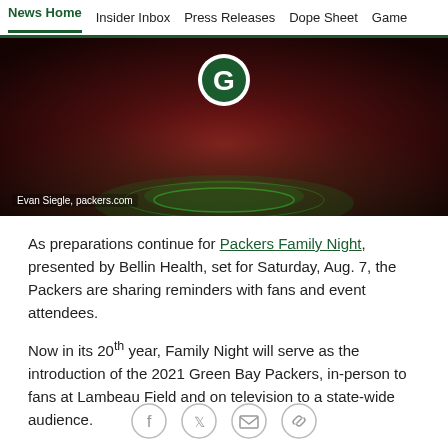News Home  Insider Inbox  Press Releases  Dope Sheet  Game
[Figure (photo): Lambeau Field panoramic crowd photo at night with Green Bay Packers G logo illuminated above the field. Dark red/orange crowd with green field lighting.]
Evan Siegle, packers.com
As preparations continue for Packers Family Night, presented by Bellin Health, set for Saturday, Aug. 7, the Packers are sharing reminders with fans and event attendees.
Now in its 20th year, Family Night will serve as the introduction of the 2021 Green Bay Packers, in-person to fans at Lambeau Field and on television to a state-wide audience.
[Figure (infographic): Social sharing icons: Facebook, Twitter, Email, Link/chain]